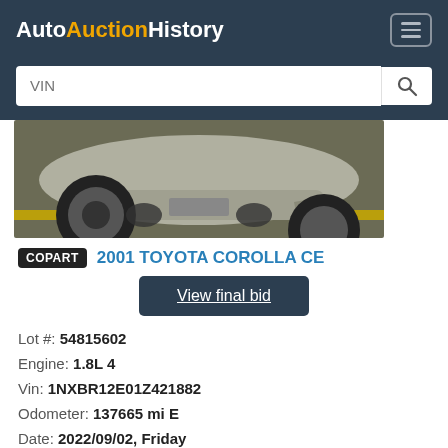AutoAuctionHistory
[Figure (photo): Front-end underside of a silver Toyota Corolla CE on a concrete floor with yellow line markings]
COPART 2001 TOYOTA COROLLA CE
View final bid
Lot #: 54815602
Engine: 1.8L 4
Vin: 1NXBR12E01Z421882
Odometer: 137665 mi E
Date: 2022/09/02, Friday
Primary Damage: REAR END
Secondary Damage: FRONT END